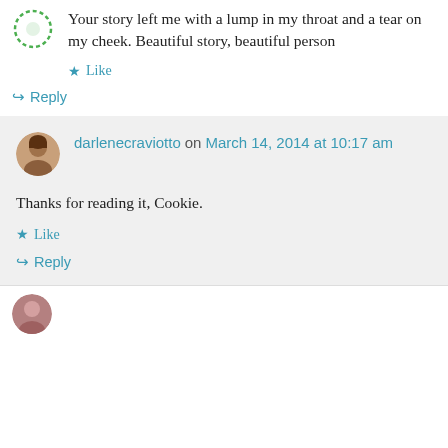[Figure (illustration): Small green dashed circular avatar icon at top left]
Your story left me with a lump in my throat and a tear on my cheek. Beautiful story, beautiful person
Like
Reply
[Figure (photo): Small circular photo avatar of darlenecraviotto]
darlenecraviotto on March 14, 2014 at 10:17 am
Thanks for reading it, Cookie.
Like
Reply
[Figure (photo): Partial circular avatar visible at bottom]